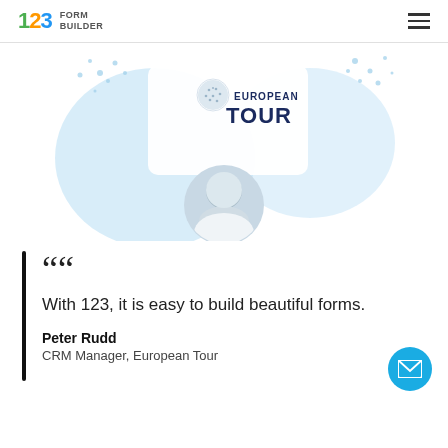123 FORM BUILDER
[Figure (logo): European Tour logo with golf ball icon and blue decorative background elements, circular profile photo of Peter Rudd below]
““
With 123, it is easy to build beautiful forms.
Peter Rudd
CRM Manager, European Tour